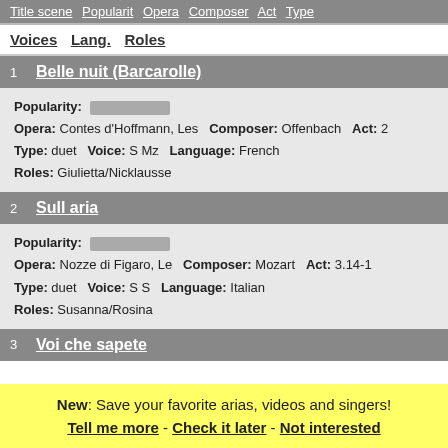Title scene  Popularit  Opera  Composer  Act  Type  Voices  Lang.  Roles
1 Belle nuit (Barcarolle)
Popularity: [bar]
Opera: Contes d'Hoffmann, Les  Composer: Offenbach  Act: 2
Type: duet  Voice: S Mz  Language: French
Roles: Giulietta/Nicklausse
2 Sull aria
Popularity: [bar]
Opera: Nozze di Figaro, Le  Composer: Mozart  Act: 3.14-1
Type: duet  Voice: S S  Language: Italian
Roles: Susanna/Rosina
3 Voi che sapete
New: Save your favorite arias, videos and singers!
Tell me more - Check it later - Not interested